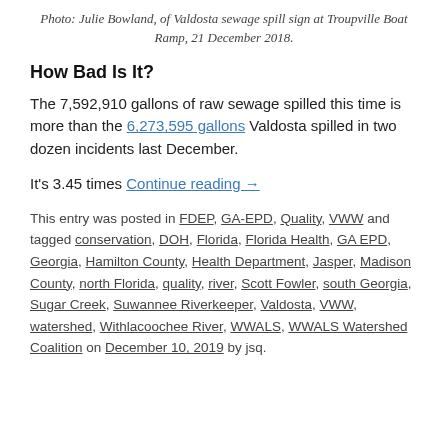Photo: Julie Bowland, of Valdosta sewage spill sign at Troupville Boat Ramp, 21 December 2018.
How Bad Is It?
The 7,592,910 gallons of raw sewage spilled this time is more than the 6,273,595 gallons Valdosta spilled in two dozen incidents last December.
It's 3.45 times Continue reading →
This entry was posted in FDEP, GA-EPD, Quality, VWW and tagged conservation, DOH, Florida, Florida Health, GA EPD, Georgia, Hamilton County, Health Department, Jasper, Madison County, north Florida, quality, river, Scott Fowler, south Georgia, Sugar Creek, Suwannee Riverkeeper, Valdosta, VWW, watershed, Withlacoochee River, WWALS, WWALS Watershed Coalition on December 10, 2019 by jsq.